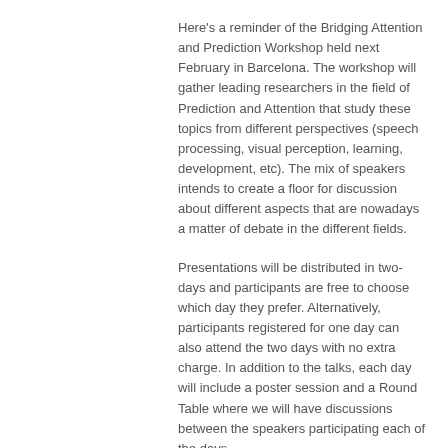Here's a reminder of the Bridging Attention and Prediction Workshop held next February in Barcelona. The workshop will gather leading researchers in the field of Prediction and Attention that study these topics from different perspectives (speech processing, visual perception, learning, development, etc). The mix of speakers intends to create a floor for discussion about different aspects that are nowadays a matter of debate in the different fields.
Presentations will be distributed in two-days and participants are free to choose which day they prefer. Alternatively, participants registered for one day can also attend the two days with no extra charge. In addition to the talks, each day will include a poster session and a Round Table where we will have discussions between the speakers participating each of the days.
Day 1 (6th of February, 2018)